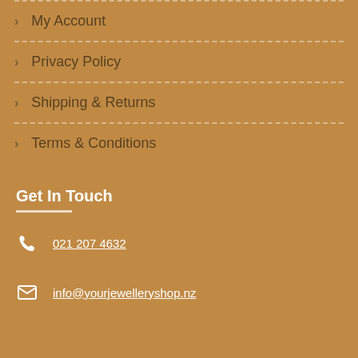My Account
Privacy Policy
Shipping & Returns
Terms & Conditions
Get In Touch
021 207 4632
info@yourjewelleryshop.nz